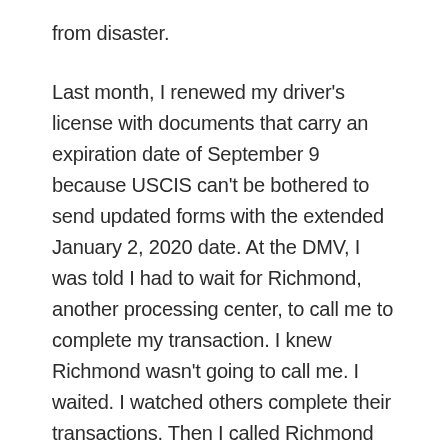from disaster.
Last month, I renewed my driver's license with documents that carry an expiration date of September 9 because USCIS can't be bothered to send updated forms with the extended January 2, 2020 date. At the DMV, I was told I had to wait for Richmond, another processing center, to call me to complete my transaction. I knew Richmond wasn't going to call me. I waited. I watched others complete their transactions. Then I called Richmond myself. Three hours later, I had completed the transaction for what may or